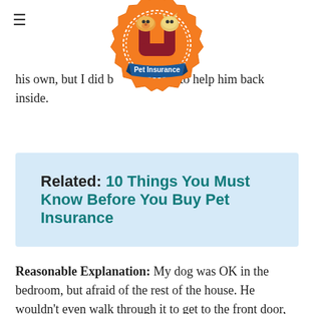≡
[Figure (logo): Pet Insurance U logo — orange badge/seal shape with a maroon block letter U, a cartoon dog and cat peeking over it, and a blue banner reading 'Pet Insurance' at the bottom]
his own, but I did be… up to help him back inside.
Related: 10 Things You Must Know Before You Buy Pet Insurance
Reasonable Explanation: My dog was OK in the bedroom, but afraid of the rest of the house. He wouldn't even walk through it to get to the front door,